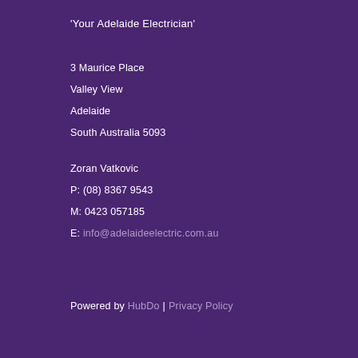'Your Adelaide Electrician'
3 Maurice Place
Valley View
Adelaide
South Australia 5093
Zoran Vatkovic
P: (08) 8367 9543
M: 0423 057185
E: info@adelaideelectric.com.au
Powered by HubDo | Privacy Policy